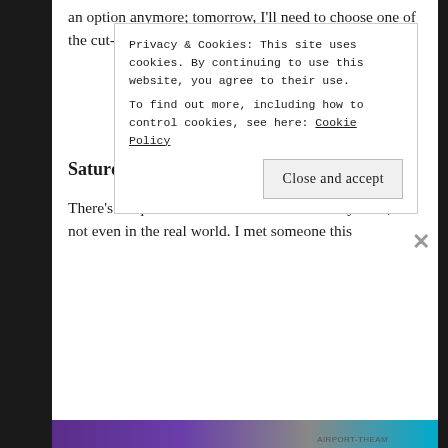an option anymore; tomorrow, I'll need to choose one of the cut-offs.
Saturday
There's no question – I'm not in Louisiana anymore; I'm not even in the real world. I met someone this
Privacy & Cookies: This site uses cookies. By continuing to use this website, you agree to their use.
To find out more, including how to control cookies, see here: Cookie Policy
Close and accept